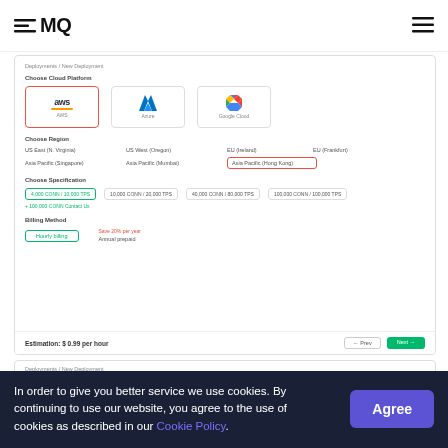EMQ (logo) | hamburger menu
[Figure (screenshot): EMQ Cloud deployment configuration UI showing: Choose Cloud Platform (AWS selected with red border, Azure, Google Cloud); Choose Region (US East N. Virginia, US West Oregon, EU Ireland, EU Frankfurt, Asia Pacific Singapore, Asia Pacific Mumbai, Asia Pacific Hong Kong highlighted in red border); Choose Specification (4,000 CONN / 10,000 TPS selected in green, 10,000 CONN / 20,000 TPS, 40,000 CONN / 80,000 TPS, 100,000 CONN / 100,000 TPS, + 100,000 CONN Contact Us); Billing Method (Hourly billing selected in green, Annual prepaid with save 20% per year label); Estimation: $0.99 per hour; Prev and Next buttons]
[Figure (screenshot): Partial second screenshot showing Deployments / New Deployment breadcrumb and Choose Cloud Platform section with cloud provider icons partially visible]
In order to give you better service we use cookies. By continuing to use our website, you agree to the use of cookies as described in our Cookie Policy.